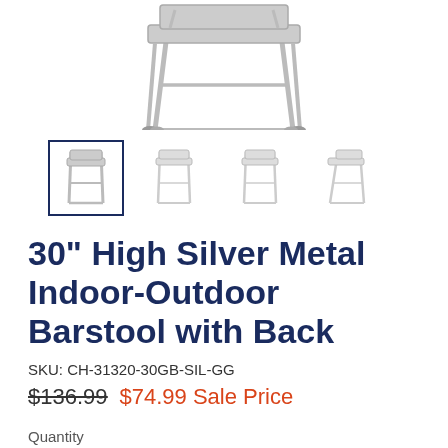[Figure (photo): Main product image of a silver metal barstool with back, shown from multiple angles. Four thumbnail images below showing different views — first thumbnail is selected with a dark blue border.]
30" High Silver Metal Indoor-Outdoor Barstool with Back
SKU: CH-31320-30GB-SIL-GG
$136.99  $74.99 Sale Price
Quantity
1
ADD TO CART